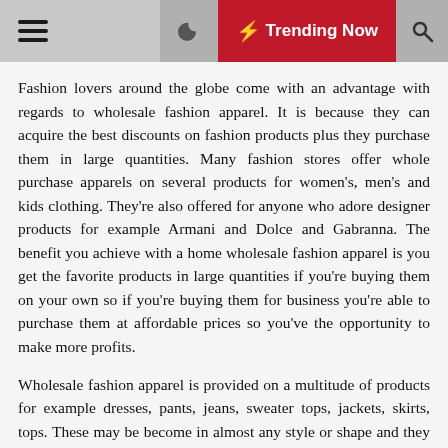☰ ☽ ⚡ Trending Now 🔍
Fashion lovers around the globe come with an advantage with regards to wholesale fashion apparel. It is because they can acquire the best discounts on fashion products plus they purchase them in large quantities. Many fashion stores offer whole purchase apparels on several products for women's, men's and kids clothing. They're also offered for anyone who adore designer products for example Armani and Dolce and Gabranna. The benefit you achieve with a home wholesale fashion apparel is you get the favorite products in large quantities if you're buying them on your own so if you're buying them for business you're able to purchase them at affordable prices so you've the opportunity to make more profits.
Wholesale fashion apparel is provided on a multitude of products for example dresses, pants, jeans, sweater tops, jackets, skirts, tops. These may be become in almost any style or shape and they may also be plain or decorated. Additionally they offer clothes for those sizes of